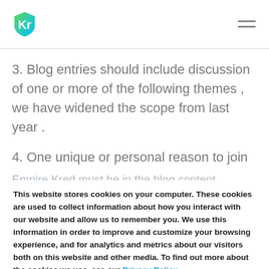Kr logo and navigation menu
3. Blog entries should include discussion of one or more of the following themes , we have widened the scope from last year .
4. One unique or personal reason to join Empire Kred must be in the blog content.
5. Blog posts published anytime between November...
6. By entering you will be granting rights to Empire Kred...for future promotions or advertising.
This website stores cookies on your computer. These cookies are used to collect information about how you interact with our website and allow us to remember you. We use this information in order to improve and customize your browsing experience, and for analytics and metrics about our visitors both on this website and other media. To find out more about the cookies we use, see our Privacy Policy.
ACCEPT | DECLINE